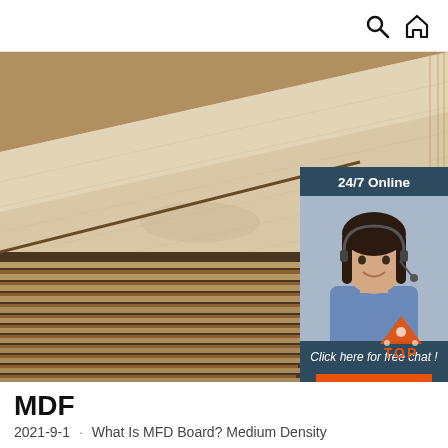Search and Home navigation icons
[Figure (photo): Stack of plywood/MDF board sheets viewed at an angle, showing layered edges. An overlay chat widget with '24/7 Online' label, a customer service representative photo, 'Click here for free chat!' text, and an orange QUOTATION button. A TOP badge icon appears at the bottom right of the image.]
MDF
2021-9-1 · What Is MFD Board? Medium Density